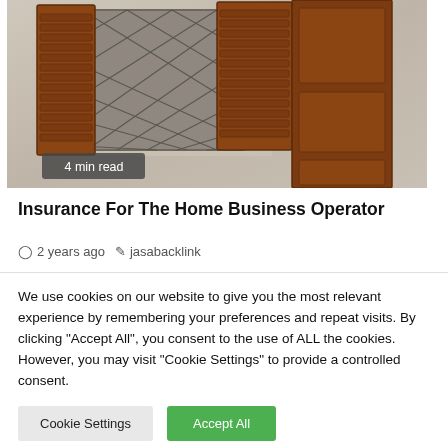[Figure (photo): Photo of an old building window with brown wooden shutters open, diamond-patterned iron grille window, white wall with markings]
4 min read
Insurance For The Home Business Operator
2 years ago   jasabacklink
We use cookies on our website to give you the most relevant experience by remembering your preferences and repeat visits. By clicking "Accept All", you consent to the use of ALL the cookies. However, you may visit "Cookie Settings" to provide a controlled consent.